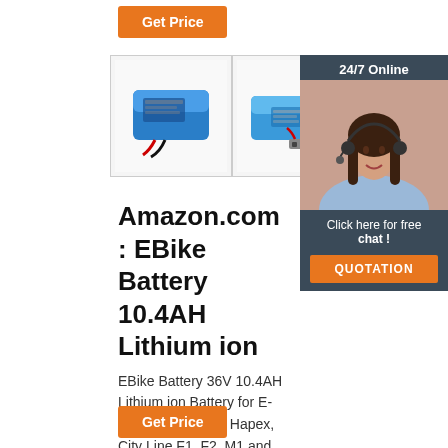[Figure (illustration): Orange 'Get Price' button at top]
[Figure (photo): Three product images of EBike lithium ion batteries – blue rectangular battery with red wires, blue battery with connector, and black battery unit]
[Figure (photo): Customer service chat widget overlay showing '24/7 Online', a smiling woman with headset, 'Click here for free chat!', and an orange QUOTATION button]
Amazon.com : EBike Battery 10.4AH Lithium ion
EBike Battery 36V 10.4AH Lithium ion Battery for E-GO, Wondervelo, Hapex, City Line F1, F2, M1 and M2,Electric Bike Battery,Without rearlight,fits for 350w Motor. 4.2 out of 5 …
[Figure (illustration): Orange 'Get Price' button at bottom]